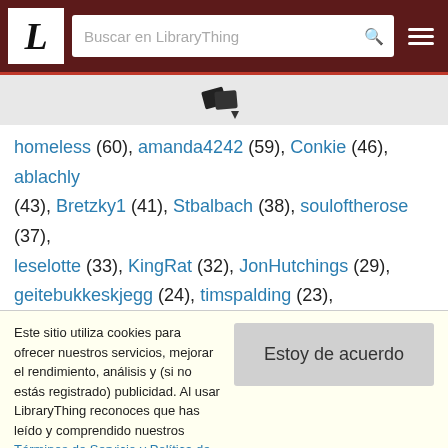LibraryThing – Buscar en LibraryThing
[Figure (logo): LibraryThing books icon with drop-down arrow]
homeless (60), amanda4242 (59), Conkie (46), ablachly (43), Bretzky1 (41), Stbalbach (38), souloftherose (37), leselotte (33), KingRat (32), JonHutchings (29), geitebukkeskjegg (24), timspalding (23), supersidvicious (23), innermurk (23), slothman (20), SimoneA (19), casvelyn (18), sturlington (17), jefbra (17), dara85 (16),
Este sitio utiliza cookies para ofrecer nuestros servicios, mejorar el rendimiento, análisis y (si no estás registrado) publicidad. Al usar LibraryThing reconoces que has leído y comprendido nuestros Términos de Servicio y Política de Privacidad. El uso del sitio y de los servicios está sujeto a estas políticas y términos.